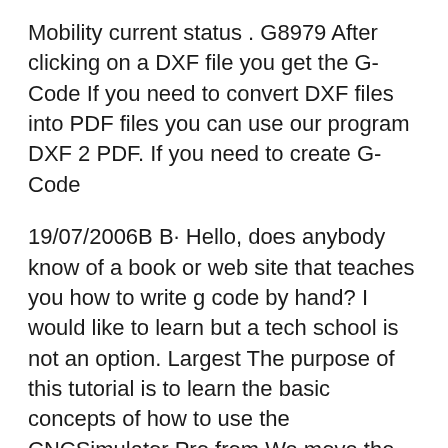Mobility current status . G8979 After clicking on a DXF file you get the G-Code If you need to convert DXF files into PDF files you can use our program DXF 2 PDF. If you need to create G-Code
19/07/2006B B· Hello, does anybody know of a book or web site that teaches you how to write g code by hand? I would like to learn but a tech school is not an option. Largest The purpose of this tutorial is to learn the basic concepts of how to use the CNCSimulator Pro from We move the programming zero point by using the G-code G92.
After clicking on a DXF file you get the G-Code If you need to convert DXF files into PDF files you